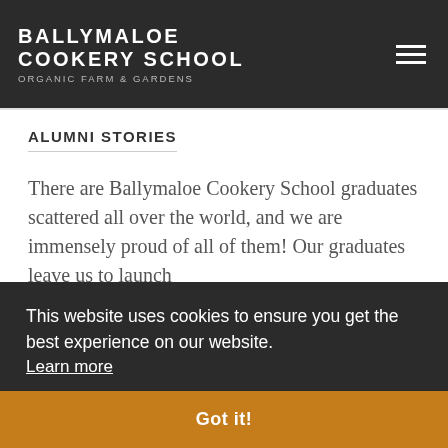BALLYMALOE COOKERY SCHOOL ORGANIC FARM & GARDENS
ALUMNI STORIES
There are Ballymaloe Cookery School graduates scattered all over the world, and we are immensely proud of all of them! Our graduates leave us to launch
This website uses cookies to ensure you get the best experience on our website. Learn more
Got it!